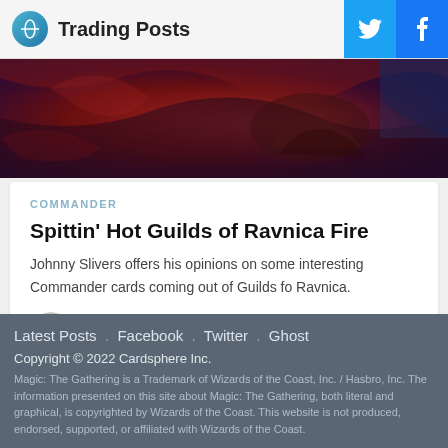Trading Posts
[Figure (illustration): Hero image with dark red and blue fantasy art showing a hand or creature detail from a Magic: The Gathering card]
COMMANDER
Spittin' Hot Guilds of Ravnica Fire
Johnny Slivers offers his opinions on some interesting Commander cards coming out of Guilds fo Ravnica.
7 MIN READ
Latest Posts . Facebook . Twitter . Ghost
Copyright © 2022 Cardsphere Inc.
Magic: The Gathering is a Trademark of Wizards of the Coast, Inc. / Hasbro, Inc. The information presented on this site about Magic: The Gathering, both literal and graphical, is copyrighted by Wizards of the Coast. This website is not produced, endorsed, supported, or affiliated with Wizards of the Coast.